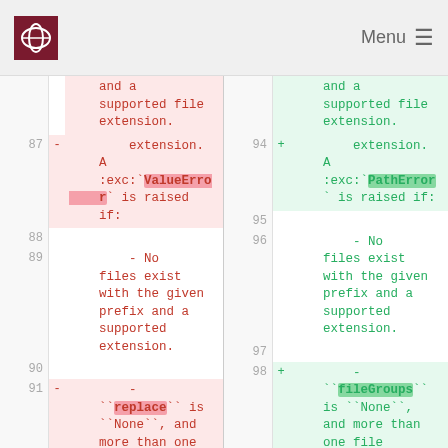Menu
Code diff view showing changes from line 87-91 (left) and 94-98 (right). Left side shows removal of ValueError, replace parameter. Right side shows addition of PathError, fileGroups parameter.